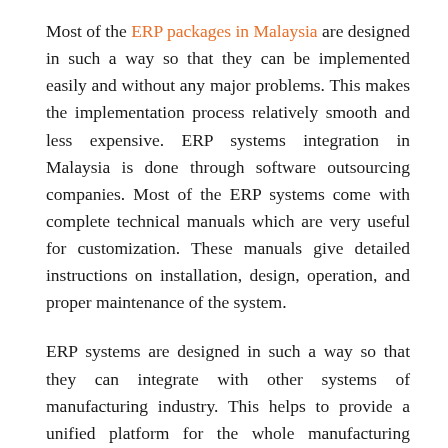Most of the ERP packages in Malaysia are designed in such a way so that they can be implemented easily and without any major problems. This makes the implementation process relatively smooth and less expensive. ERP systems integration in Malaysia is done through software outsourcing companies. Most of the ERP systems come with complete technical manuals which are very useful for customization. These manuals give detailed instructions on installation, design, operation, and proper maintenance of the system.
ERP systems are designed in such a way so that they can integrate with other systems of manufacturing industry. This helps to provide a unified platform for the whole manufacturing process. Most of the ERP packages in Malaysia are designed in such a way that they can be integrated with other systems of manufacturing industry. This helps to provide a unified platform for the whole